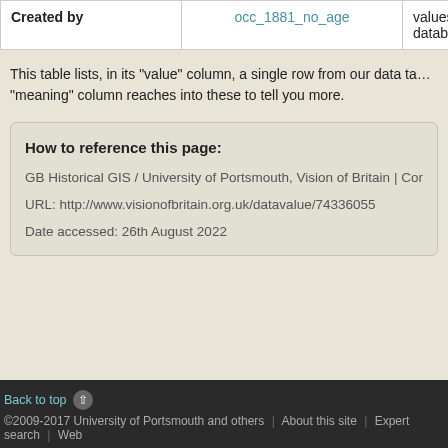|  | value | meaning |
| --- | --- | --- |
| Created by | occ_1881_no_age | values, this database, |
This table lists, in its "value" column, a single row from our data table. The values a "meaning" column reaches into these to tell you more.
How to reference this page:
GB Historical GIS / University of Portsmouth, Vision of Britain | Context for data va
URL: http://www.visionofbritain.org.uk/datavalue/74336055
Date accessed: 26th August 2022
Back to top | ©2009-2017 University of Portsmouth and others | About this site | Expert search | Web